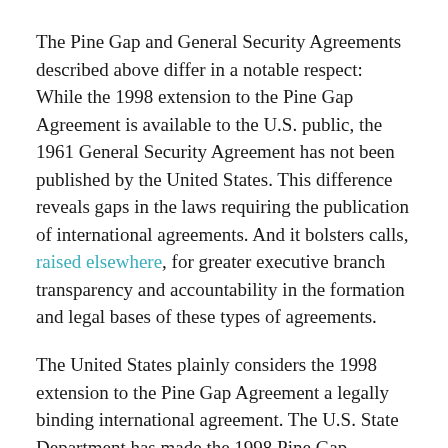The Pine Gap and General Security Agreements described above differ in a notable respect: While the 1998 extension to the Pine Gap Agreement is available to the U.S. public, the 1961 General Security Agreement has not been published by the United States. This difference reveals gaps in the laws requiring the publication of international agreements. And it bolsters calls, raised elsewhere, for greater executive branch transparency and accountability in the formation and legal bases of these types of agreements.
The United States plainly considers the 1998 extension to the Pine Gap Agreement a legally binding international agreement. The U.S. State Department has made the 1998 Pine Gap Agreement publicly available in the Treaties and Other International Agreements Series (TIAS), a repository which serves as